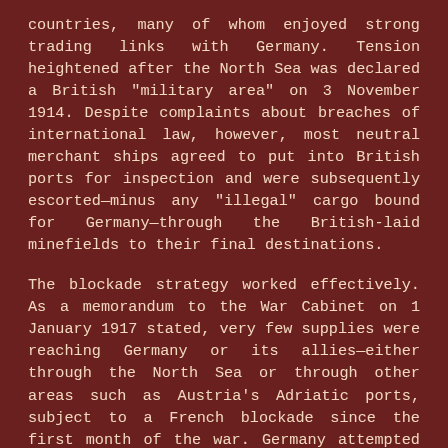countries, many of whom enjoyed strong trading links with Germany. Tension heightened after the North Sea was declared a British "military area" on 3 November 1914. Despite complaints about breaches of international law, however, most neutral merchant ships agreed to put into British ports for inspection and were subsequently escorted—minus any "illegal" cargo bound for Germany—through the British-laid minefields to their final destinations.
The blockade strategy worked effectively. As a memorandum to the War Cabinet on 1 January 1917 stated, very few supplies were reaching Germany or its allies—either through the North Sea or through other areas such as Austria's Adriatic ports, subject to a French blockade since the first month of the war. Germany attempted to counter the crippling effects of the blockade with a new weapon that seemed capable of subverting British naval superiority, the submarine. For much of the war, German U-boats were deployed only intermittently against neutral and Allied shipping. Their devastating impact—as witnessed, for example, in the sinking of the Lusitania in May 1915—was offset by the international opprobrium that such attacks